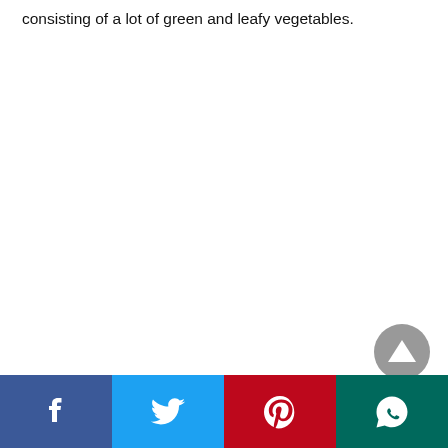consisting of a lot of green and leafy vegetables.
[Figure (other): Scroll-to-top button: grey circle with white upward-pointing triangle]
[Figure (other): Social media sharing bar with Facebook (blue), Twitter (light blue), Pinterest (red), and WhatsApp (dark teal) icons]